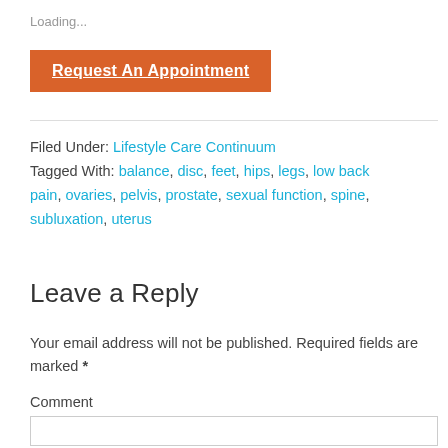Loading...
[Figure (other): Orange button labeled 'Request An Appointment']
Filed Under: Lifestyle Care Continuum
Tagged With: balance, disc, feet, hips, legs, low back pain, ovaries, pelvis, prostate, sexual function, spine, subluxation, uterus
Leave a Reply
Your email address will not be published. Required fields are marked *
Comment